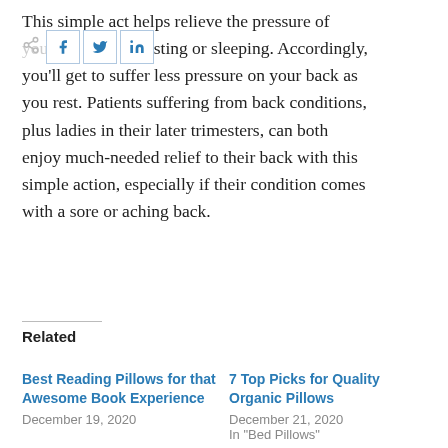This simple act helps relieve the pressure of your body when resting or sleeping. Accordingly, you'll get to suffer less pressure on your back as you rest. Patients suffering from back conditions, plus ladies in their later trimesters, can both enjoy much-needed relief to their back with this simple action, especially if their condition comes with a sore or aching back.
Related
Best Reading Pillows for that Awesome Book Experience
December 19, 2020
7 Top Picks for Quality Organic Pillows
December 21, 2020
In "Bed Pillows"